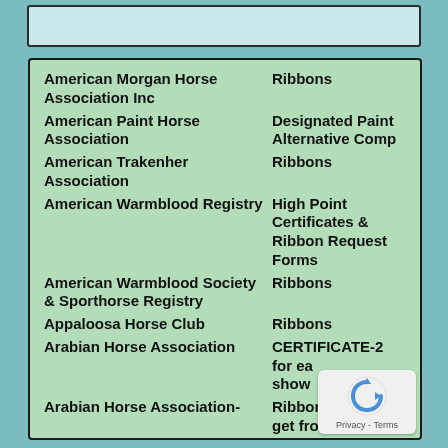American Morgan Horse Association Inc | Ribbons
American Paint Horse Association | Designated Paint Alternative Comp
American Trakenher Association | Ribbons
American Warmblood Registry | High Point Certificates & Ribbon Request Forms
American Warmblood Society & Sporthorse Registry | Ribbons
Appaloosa Horse Club | Ribbons
Arabian Horse Association | CERTIFICATE-2 for each show
Arabian Horse Association- | Ribbons-4- Will get from